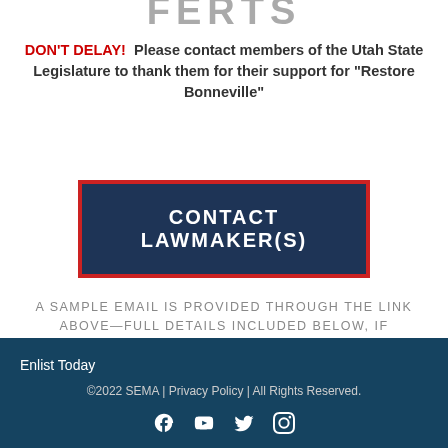FERTS
DON'T DELAY!  Please contact members of the Utah State Legislature to thank them for their support for “Restore Bonneville”
[Figure (other): Dark navy blue button with red border reading CONTACT LAWMAKER(S)]
A SAMPLE EMAIL IS PROVIDED THROUGH THE LINK ABOVE—FULL DETAILS INCLUDED BELOW, IF NECESSARY.  PLEASE ADD THE FOLLOWING POINTS—ALSO NOTE IF YOU ARE A UTAH RESIDENT AND FEEL FREE TO PERSONALIZE THE MESSAGE:
Enlist Today
©2022 SEMA | Privacy Policy | All Rights Reserved.